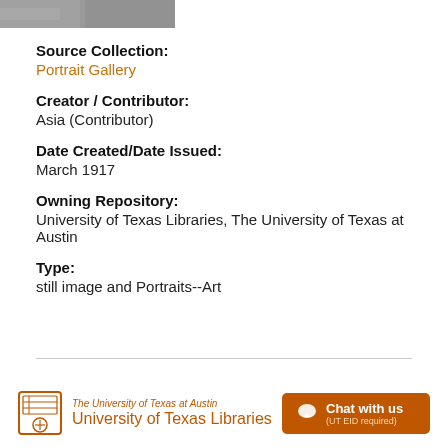[Figure (photo): Partial view of a portrait photograph at the top of the page]
Source Collection:
Portrait Gallery
Creator / Contributor:
Asia (Contributor)
Date Created/Date Issued:
March 1917
Owning Repository:
University of Texas Libraries, The University of Texas at Austin
Type:
still image and Portraits--Art
The University of Texas at Austin — University of Texas Libraries | Chat with us (UT EID required)